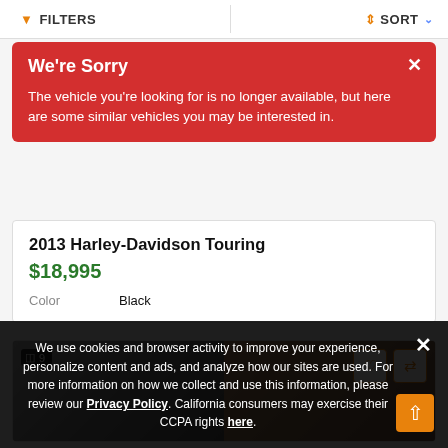FILTERS  SORT
We're Sorry
The vehicle you're looking for is no longer available, but here are some similar vehicles you may be interested in.
2013 Harley-Davidson Touring
$18,995
Color   Black
[Figure (photo): Vehicle listing image showing a motorcycle, split into two photo panels with image count badge showing 9 and action buttons for favorite and compare]
We use cookies and browser activity to improve your experience, personalize content and ads, and analyze how our sites are used. For more information on how we collect and use this information, please review our Privacy Policy. California consumers may exercise their CCPA rights here.